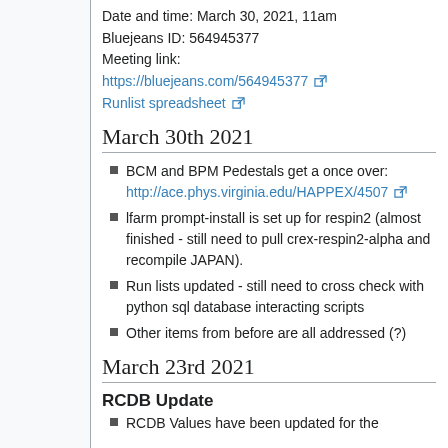Date and time: March 30, 2021, 11am
Bluejeans ID: 564945377
Meeting link:
https://bluejeans.com/564945377 [link]
Runlist spreadsheet [link]
March 30th 2021
BCM and BPM Pedestals get a once over: http://ace.phys.virginia.edu/HAPPEX/45007 [link]
lfarm prompt-install is set up for respin2 (almost finished - still need to pull crex-respin2-alpha and recompile JAPAN).
Run lists updated - still need to cross check with python sql database interacting scripts
Other items from before are all addressed (?)
March 23rd 2021
RCDB Update
RCDB Values have been updated for the